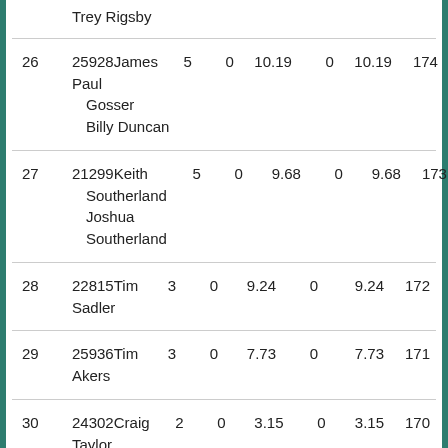| Rank | ID/Name | Col3 | Col4 | Score | Col6 | Total | Pts |
| --- | --- | --- | --- | --- | --- | --- | --- |
|  | Trey Rigsby |  |  |  |  |  |  |
| 26 | 25928 James Paul Gosser / Billy Duncan | 5 | 0 | 10.19 | 0 | 10.19 | 174 |
| 27 | 21299 Keith Southerland / Joshua Southerland | 5 | 0 | 9.68 | 0 | 9.68 | 173 |
| 28 | 22815 Tim Sadler | 3 | 0 | 9.24 | 0 | 9.24 | 172 |
| 29 | 25936 Tim Akers | 3 | 0 | 7.73 | 0 | 7.73 | 171 |
| 30 | 24302 Craig Taylor / Evan Taylor | 2 | 0 | 3.15 | 0 | 3.15 | 170 |